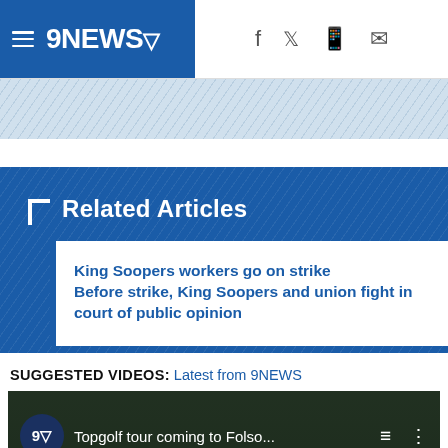9NEWS
Related Articles
King Soopers workers go on strike
Before strike, King Soopers and union fight in court of public opinion
SUGGESTED VIDEOS: Latest from 9NEWS
[Figure (screenshot): Video thumbnail showing Topgolf tour coming to Folso... with 9NEWS logo overlay and video controls]